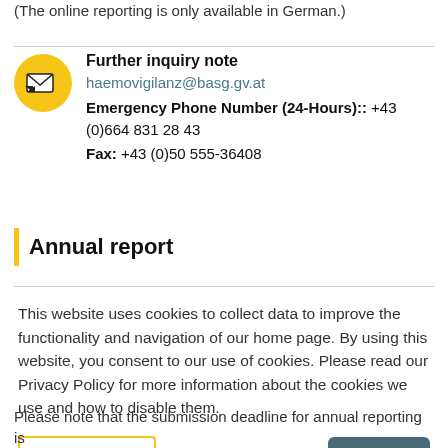(The online reporting is only available in German.)
Further inquiry note
haemovigilanz@basg.gv.at
Emergency Phone Number (24-Hours):: +43 (0)664 831 28 43
Fax: +43 (0)50 555-36408
Annual report
This website uses cookies to collect data to improve the functionality and navigation of our home page. By using this website, you consent to our use of cookies. Please read our Privacy Policy for more information about the cookies we use and how to disable them.
Please note that the submission deadline for annual reporting is